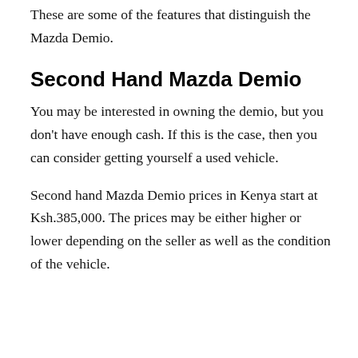These are some of the features that distinguish the Mazda Demio.
Second Hand Mazda Demio
You may be interested in owning the demio, but you don't have enough cash. If this is the case, then you can consider getting yourself a used vehicle.
Second hand Mazda Demio prices in Kenya start at Ksh.385,000. The prices may be either higher or lower depending on the seller as well as the condition of the vehicle.